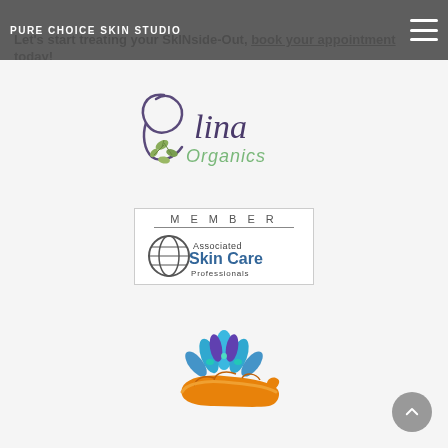PURE CHOICE SKIN STUDIO
Let's start treating your SkINside-Out, book your appointment today!
[Figure (logo): Elina Organics logo with decorative script lettering and olive branch illustration]
[Figure (logo): MEMBER badge for Associated Skin Care Professionals with circular logo]
[Figure (logo): Association of Holistic Skin Care Practitioners logo with lotus flower and hand illustration in circular text arrangement]